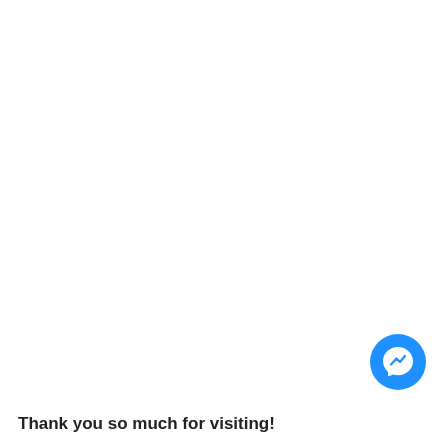[Figure (logo): Facebook Messenger icon — blue circle with white lightning-bolt chat bubble inside, positioned in bottom-right area]
Thank you so much for visiting!